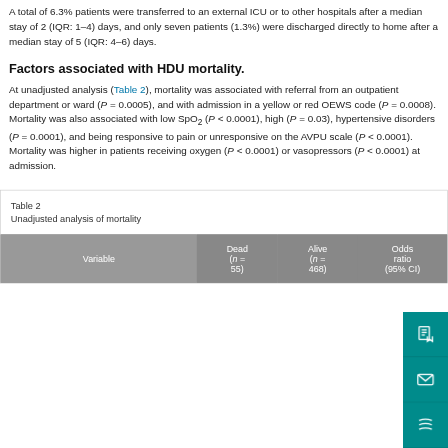A total of 6.3% patients were transferred to an external ICU or to other hospitals after a median stay of 2 (IQR: 1–4) days, and only seven patients (1.3%) were discharged directly to home after a median stay of 5 (IQR: 4–6) days.
Factors associated with HDU mortality.
At unadjusted analysis (Table 2), mortality was associated with referral from an outpatient department or ward (P = 0.0005), and with admission in a yellow or red OEWS code (P = 0.0008). Mortality was also associated with low SpO2 (P < 0.0001), high (P = 0.03), hypertensive disorders (P = 0.0001), and being responsive to pain or unresponsive on the AVPU scale (P < 0.0001). Mortality was higher in patients receiving oxygen (P < 0.0001) or vasopressors (P < 0.0001) at admission.
Table 2
Unadjusted analysis of mortality
| Variable | Dead (n = 55) | Alive (n = 468) | Odds ratio (95% CI) |
| --- | --- | --- | --- |